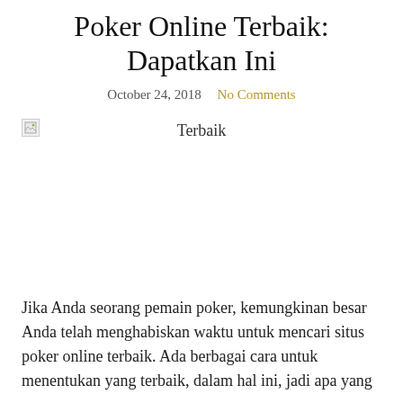Poker Online Terbaik: Dapatkan Ini
October 24, 2018   No Comments
[Figure (photo): Broken image placeholder with alt text 'Terbaik']
Jika Anda seorang pemain poker, kemungkinan besar Anda telah menghabiskan waktu untuk mencari situs poker online terbaik. Ada berbagai cara untuk menentukan yang terbaik, dalam hal ini, jadi apa yang